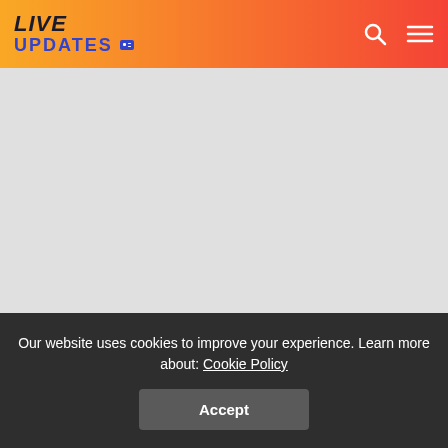LIVE UPDATES
[Figure (photo): Large grey placeholder image area for an article photo]
Suffolk Police have reached the ultra-modern milestone in equipping their frontline officials with the newest body-worn
Our website uses cookies to improve your experience. Learn more about: Cookie Policy
Accept